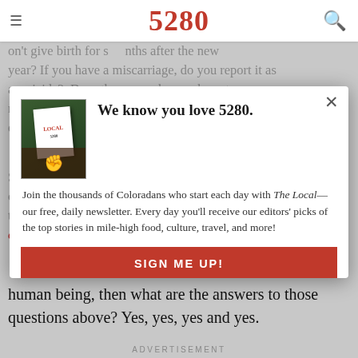5280
on't give birth for s  nths after the new year? If you have a miscarriage, do you report it as a  suicide? Does the census bureau have to reconfigure its population estimates to include eggs?
[Figure (screenshot): Newsletter signup modal overlay on 5280 magazine website. Modal contains thumbnail image of The Local magazine, headline 'We know you love 5280.', body text 'Join the thousands of Coloradans who start each day with The Local—our free, daily newsletter. Every day you'll receive our editors' picks of the top stories in mile-high food, culture, travel, and more!', red SIGN ME UP! button, and close X button.]
Sure, those questions may sound silly, but you can't cherry-pick your freedoms and push for one thing and then pick and choose which rights and laws it must obey. If an egg is really to be thought of as a human being, then what are the answers to those questions above? Yes, yes, yes and yes.
ADVERTISEMENT